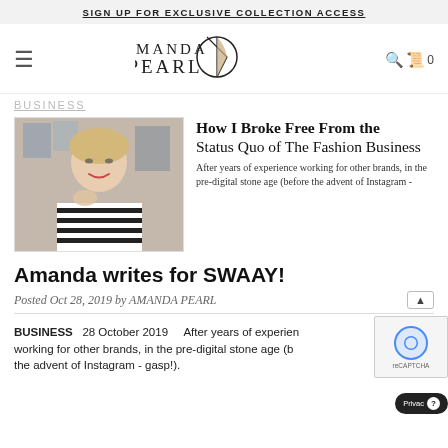SIGN UP FOR EXCLUSIVE COLLECTION ACCESS
[Figure (logo): Amanda Pearl logo with stylized circle/diamond mark]
BUSINESS
[Figure (photo): Blonde woman with short hair smiling, wearing black and white striped shirt, photos on wall behind her]
How I Broke Free From the Status Quo of The Fashion Business
After years of experience working for other brands, in the pre-digital stone age (before the advent of Instagram -
Amanda writes for SWAAY!
Posted Oct 28, 2019 by AMANDA PEARL
BUSINESS   28 October 2019     After years of experience working for other brands, in the pre-digital stone age (b the advent of Instagram - gasp!).